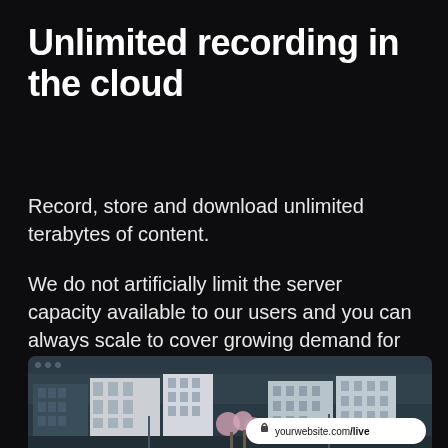Unlimited recording in the cloud
Record, store and download unlimited terabytes of content.
We do not artificially limit the server capacity available to our users and you can always scale to cover growing demand for storage space.
[Figure (screenshot): Browser window showing a city street scene with modern buildings and cherry blossoms, with a URL badge showing 'yourwebsite.com/live']